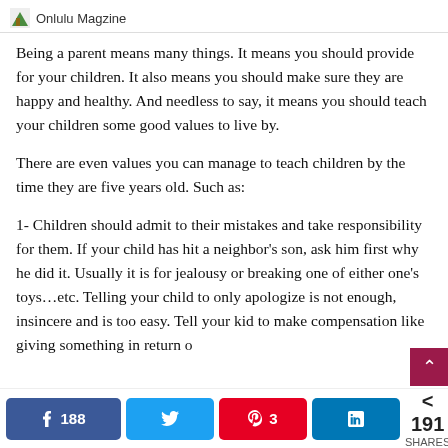Onlulu Magzine
Being a parent means many things. It means you should provide for your children. It also means you should make sure they are happy and healthy. And needless to say, it means you should teach your children some good values to live by.
There are even values you can manage to teach children by the time they are five years old. Such as:
1- Children should admit to their mistakes and take responsibility for them. If your child has hit a neighbor's son, ask him first why he did it. Usually it is for jealousy or breaking one of either one's toys…etc. Telling your child to only apologize is not enough, insincere and is too easy. Tell your kid to make compensation like giving something in return o